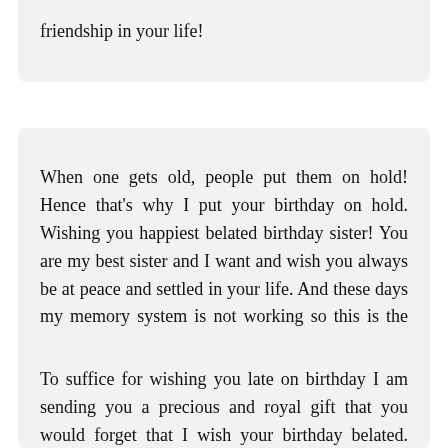sister! May you always have love and true friendship in your life!
When one gets old, people put them on hold! Hence that's why I put your birthday on hold. Wishing you happiest belated birthday sister! You are my best sister and I want and wish you always be at peace and settled in your life. And these days my memory system is not working so this is the reason also!
To suffice for wishing you late on birthday I am sending you a precious and royal gift that you would forget that I wish your birthday belated. You know sometimes business gets heavy. May your